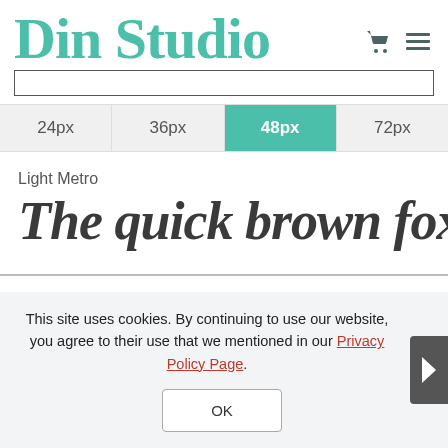Din Studio
24px  36px  48px  72px
Light Metro
The quick brown fox jum
This site uses cookies. By continuing to use our website, you agree to their use that we mentioned in our Privacy Policy Page.
OK